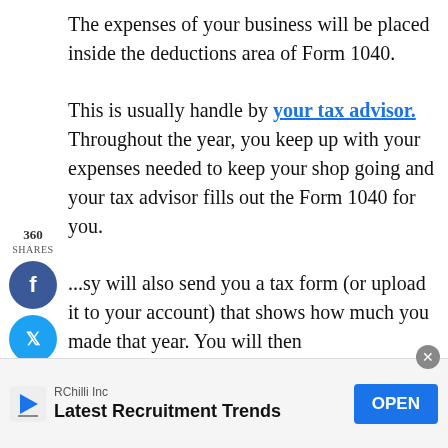The expenses of your business will be placed inside the deductions area of Form 1040.
This is usually handle by your tax advisor. Throughout the year, you keep up with your expenses needed to keep your shop going and your tax advisor fills out the Form 1040 for you.
...sy will also send you a tax form (or upload it to your account) that shows how much you made that year. You will then
[Figure (other): Social sharing sidebar with share count 360, SHARES label, and three circular buttons: Facebook (blue), Twitter (light blue), Pinterest (red)]
[Figure (other): Advertisement banner: RChilli Inc - Latest Recruitment Trends with OPEN button]